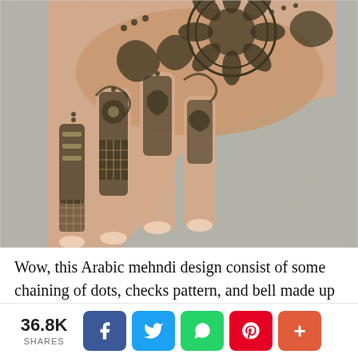[Figure (photo): A hand with intricate Arabic mehndi (henna) design featuring chaining of dots, checks pattern, and bell motifs on the fingers and back of the hand, resting on a grey fabric background.]
Wow, this Arabic mehndi design consist of some chaining of dots, checks pattern, and bell made up of
36.8K SHARES